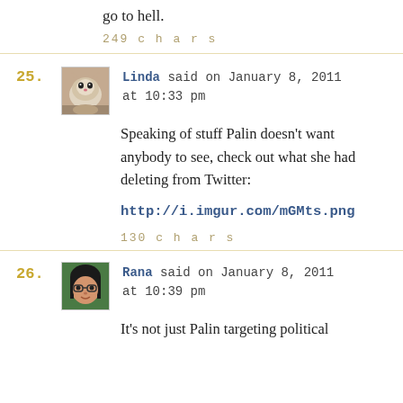go to hell.
249 chars
25. Linda said on January 8, 2011 at 10:33 pm
Speaking of stuff Palin doesn't want anybody to see, check out what she had deleting from Twitter:
http://i.imgur.com/mGMts.png
130 chars
26. Rana said on January 8, 2011 at 10:39 pm
It's not just Palin targeting political